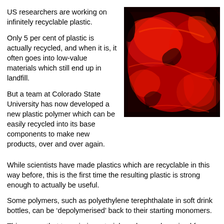US researchers are working on infinitely recyclable plastic.
Only 5 per cent of plastic is actually recycled, and when it is, it often goes into low-value materials which still end up in landfill.
[Figure (photo): Close-up photo of plastic bottles and packaging with a red/infrared filter, showing crumpled plastic containers in vivid red tones against a black background.]
But a team at Colorado State University has now developed a new plastic polymer which can be easily recycled into its base components to make new products, over and over again.
While scientists have made plastics which are recyclable in this way before, this is the first time the resulting plastic is strong enough to actually be useful.
Some polymers, such as polyethylene terephthalate in soft drink bottles, can be ‘depolymerised’ back to their starting monomers.
This means that true virgin material can be repolymerised for repeated